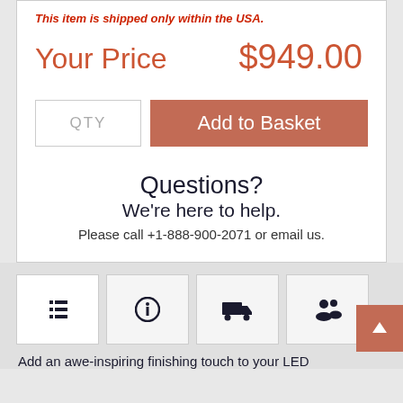This item is shipped only within the USA.
Your Price   $949.00
[Figure (screenshot): QTY input box and Add to Basket button]
Questions?
We're here to help.
Please call +1-888-900-2071 or email us.
[Figure (screenshot): Navigation tab icons row: list, info, truck, people. Back-to-top arrow button on right.]
Add an awe-inspiring finishing touch to your LED